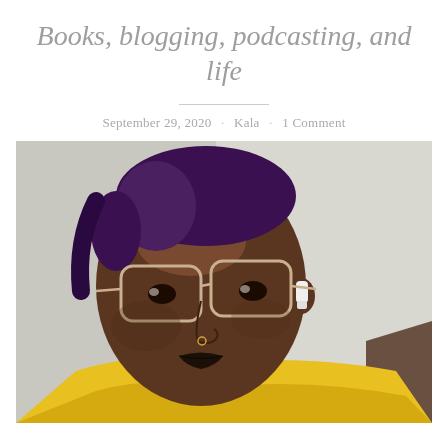Books, blogging, podcasting, and life
September 29, 2020 · Kala · 1 Comment
[Figure (photo): Selfie photo of a young Black woman with short purple hair, clear-framed glasses, a nose ring, dark lipstick, and white AirPods, wearing a yellow t-shirt. The background is a plain light gray wall.]